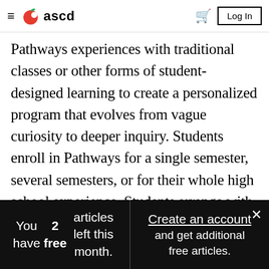ascd
Pathways experiences with traditional classes or other forms of student-designed learning to create a personalized program that evolves from vague curiosity to deeper inquiry. Students enroll in Pathways for a single semester, several semesters, or for their whole high school experience. Students arrange with their advisors to schedule time in work settings, internships, or learning at home.
You have 2 free articles left this month. Create an account and get additional free articles.